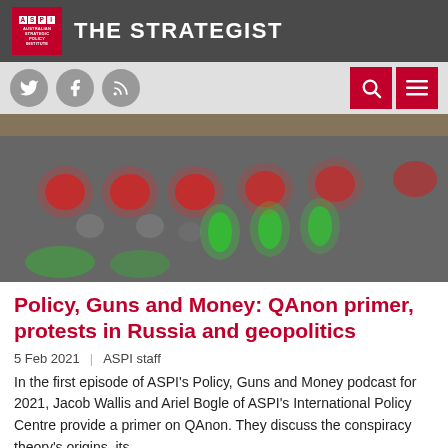THE STRATEGIST – Australian Strategic Policy Institute
[Figure (photo): Blurred close-up photo of an audio mixing board / control panel with red and green illuminated buttons/knobs against a dark gray surface]
Policy, Guns and Money: QAnon primer, protests in Russia and geopolitics
5 Feb 2021  |  ASPI staff
In the first episode of ASPI's Policy, Guns and Money podcast for 2021, Jacob Wallis and Ariel Bogle of ASPI's International Policy Centre provide a primer on QAnon. They discuss the conspiracy theory's origins, its …